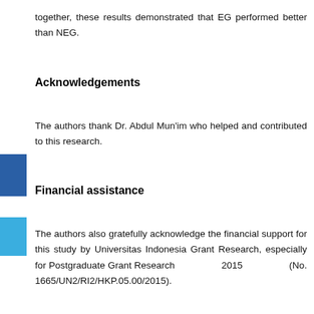together, these results demonstrated that EG performed better than NEG.
Acknowledgements
The authors thank Dr. Abdul Mun'im who helped and contributed to this research.
Financial assistance
The authors also gratefully acknowledge the financial support for this study by Universitas Indonesia Grant Research, especially for Postgraduate Grant Research 2015 (No. 1665/UN2/RI2/HKP.05.00/2015).